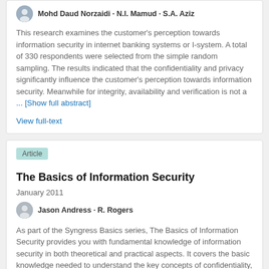Mohd Daud Norzaidi · N.I. Mamud · S.A. Aziz
This research examines the customer's perception towards information security in internet banking systems or I-system. A total of 330 respondents were selected from the simple random sampling. The results indicated that the confidentiality and privacy significantly influence the customer's perception towards information security. Meanwhile for integrity, availability and verification is not a ... [Show full abstract]
View full-text
Article
The Basics of Information Security
January 2011
Jason Andress · R. Rogers
As part of the Syngress Basics series, The Basics of Information Security provides you with fundamental knowledge of information security in both theoretical and practical aspects. It covers the basic knowledge needed to understand the key concepts of confidentiality, integrity, and availability. Then it dives into practical applications of these ideas in the areas of operational, physical, ... [Show full abstract]